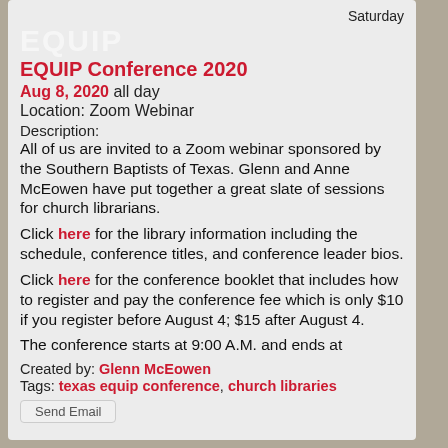Saturday
[Figure (logo): EQUIP logo in large faded white text]
EQUIP Conference 2020
Aug 8, 2020 all day
Location: Zoom Webinar
Description:
All of us are invited to a Zoom webinar sponsored by the Southern Baptists of Texas. Glenn and Anne McEowen have put together a great slate of sessions for church librarians.
Click here for the library information including the schedule, conference titles, and conference leader bios.
Click here for the conference booklet that includes how to register and pay the conference fee which is only $10 if you register before August 4; $15 after August 4.
The conference starts at 9:00 A.M. and ends at
Created by: Glenn McEowen
Tags: texas equip conference, church libraries